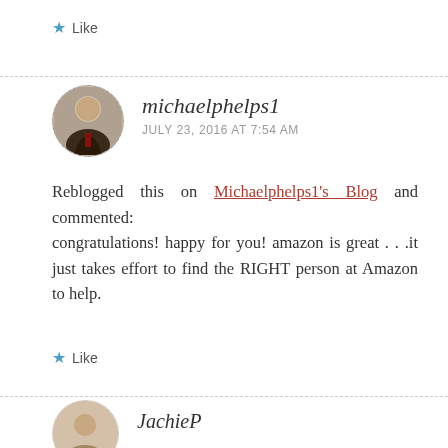Like
michaelphelps1
JULY 23, 2016 AT 7:54 AM
Reblogged this on Michaelphelps1's Blog and commented:
congratulations! happy for you! amazon is great . . .it just takes effort to find the RIGHT person at Amazon to help.
Like
JachieP